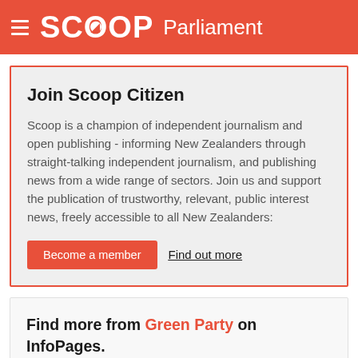SCOOP Parliament
Join Scoop Citizen
Scoop is a champion of independent journalism and open publishing - informing New Zealanders through straight-talking independent journalism, and publishing news from a wide range of sectors. Join us and support the publication of trustworthy, relevant, public interest news, freely accessible to all New Zealanders:
Become a member   Find out more
Find more from Green Party on InfoPages.